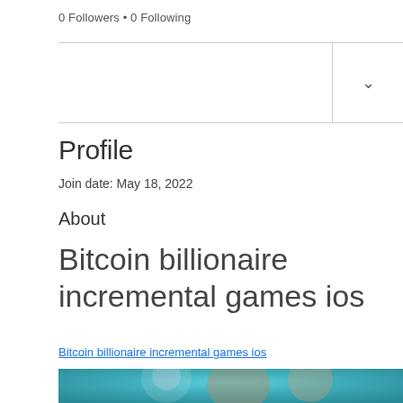0 Followers • 0 Following
Profile
Join date: May 18, 2022
About
Bitcoin billionaire incremental games ios
Bitcoin billionaire incremental games ios
[Figure (photo): Blurred screenshot or image preview, teal/aqua background with partially visible figures]